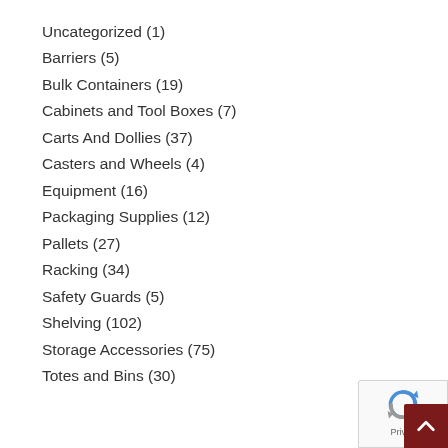Uncategorized (1)
Barriers (5)
Bulk Containers (19)
Cabinets and Tool Boxes (7)
Carts And Dollies (37)
Casters and Wheels (4)
Equipment (16)
Packaging Supplies (12)
Pallets (27)
Racking (34)
Safety Guards (5)
Shelving (102)
Storage Accessories (75)
Totes and Bins (30)